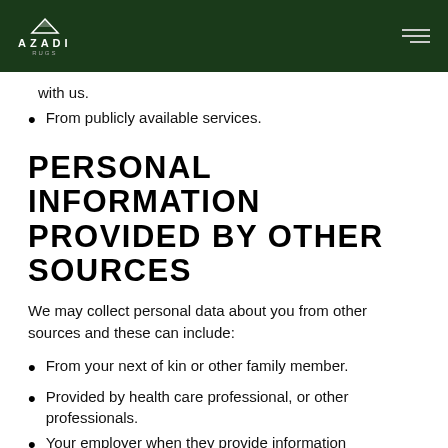AZADI
with us.
From publicly available services.
PERSONAL INFORMATION PROVIDED BY OTHER SOURCES
We may collect personal data about you from other sources and these can include:
From your next of kin or other family member.
Provided by health care professional, or other professionals.
Your employer when they provide information